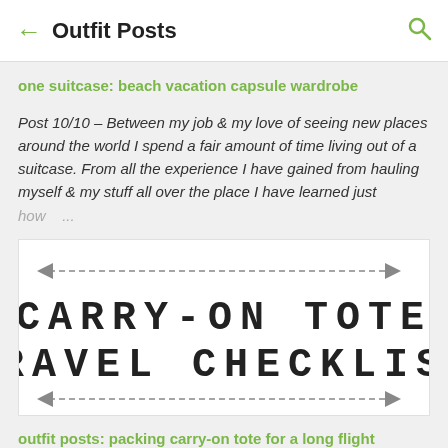Outfit Posts
one suitcase: beach vacation capsule wardrobe
Post 10/10 – Between my job & my love of seeing new places around the world I spend a fair amount of time living out of a suitcase. From all the experience I have gained from hauling myself & my stuff all over the place I have learned just how ...
[Figure (illustration): Carry-on tote travel checklist graphic with decorative arrows on dashed lines above and below the text 'CARRY-ON TOTE TRAVEL CHECKLIST' in a typewriter font.]
outfit posts: packing carry-on tote for a long flight